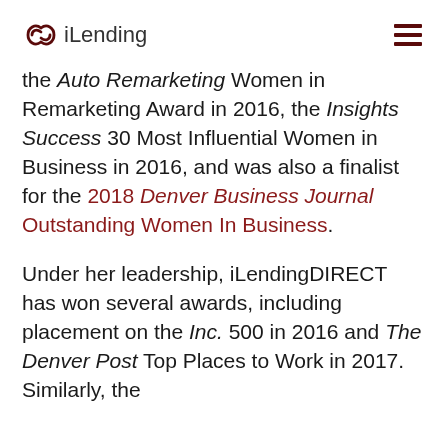iLending
the Auto Remarketing Women in Remarketing Award in 2016, the Insights Success 30 Most Influential Women in Business in 2016, and was also a finalist for the 2018 Denver Business Journal Outstanding Women In Business.
Under her leadership, iLendingDIRECT has won several awards, including placement on the Inc. 500 in 2016 and The Denver Post Top Places to Work in 2017. Similarly, the